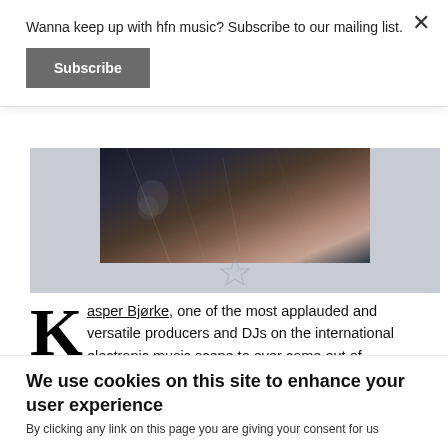Wanna keep up with hfn music? Subscribe to our mailing list.
Subscribe
[Figure (photo): Partial view of an album cover or promotional image with dark abstract/textured imagery in blues, browns, and pinks against a light gray background]
Kasper Bjørke, one of the most applauded and versatile producers and DJs on the international electronic music scene to ever come out of Copenhagen, has released on tastemaker labels like Eskimo, Mirau, Compost Black Label, Correspondant - and many more. The renowned
We use cookies on this site to enhance your user experience
By clicking any link on this page you are giving your consent for us